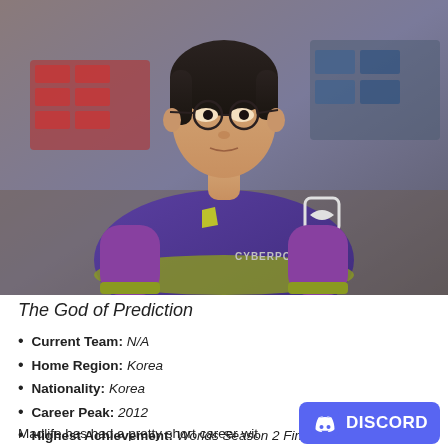[Figure (photo): Photo of a young Korean esports player wearing a purple jersey with CYBERPOWER logo, indoor arena background]
The God of Prediction
Current Team: N/A
Home Region: Korea
Nationality: Korea
Career Peak: 2012
Highest Achievement: Worlds Season 2 Finalist
Madlife has had a pretty short career wit